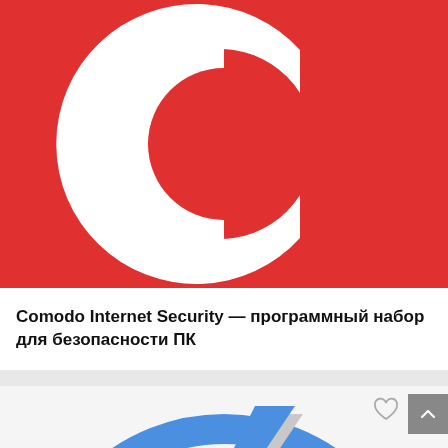[Figure (logo): Comodo Internet Security logo — red background with white stylized letter C]
Comodo Internet Security — программный набор для безопасности ПК
[Figure (logo): DAEMON Tools logo — light gray circle background with blue lightning bolt / flash icon and a circular blue ring border]